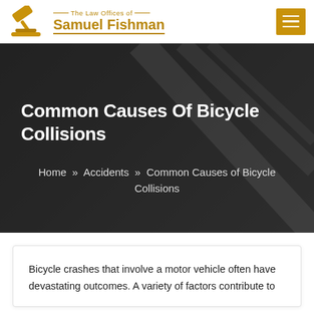The Law Offices of Samuel Fishman
Common Causes Of Bicycle Collisions
Home » Accidents » Common Causes of Bicycle Collisions
Bicycle crashes that involve a motor vehicle often have devastating outcomes. A variety of factors contribute to